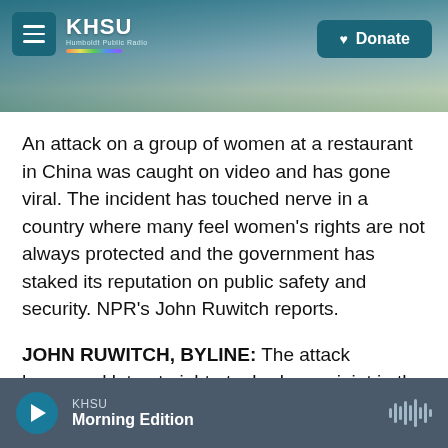[Figure (screenshot): KHSU public radio website header with coastal landscape background, hamburger menu button, KHSU logo with rainbow stripe, and Donate button]
An attack on a group of women at a restaurant in China was caught on video and has gone viral. The incident has touched nerve in a country where many feel women's rights are not always protected and the government has staked its reputation on public safety and security. NPR's John Ruwitch reports.
JOHN RUWITCH, BYLINE: The attack happened late at night at a barbecue joint in the city of Tangshan, about 50 miles east of Beijing. A woman rebuffs a man who puts his hand on her back and
KHSU Morning Edition